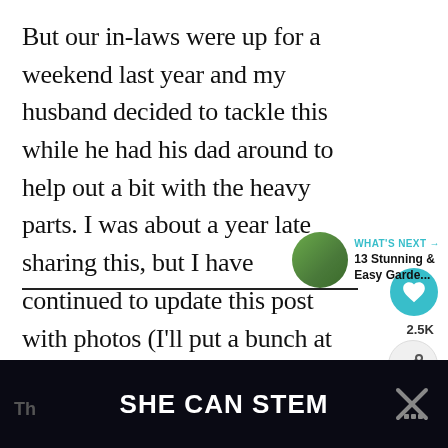But our in-laws were up for a weekend last year and my husband decided to tackle this while he had his dad around to help out a bit with the heavy parts. I was about a year late sharing this, but I have continued to update this post with photos (I'll put a bunch at the bottom) over time because we grew different things each year.
[Figure (screenshot): UI overlay showing a teal heart/like button with count 2.5K and a share button]
[Figure (screenshot): What's Next widget showing a circular thumbnail of a garden photo, label WHAT'S NEXT and text '13 Stunning & Easy Garde...']
SHE CAN STEM